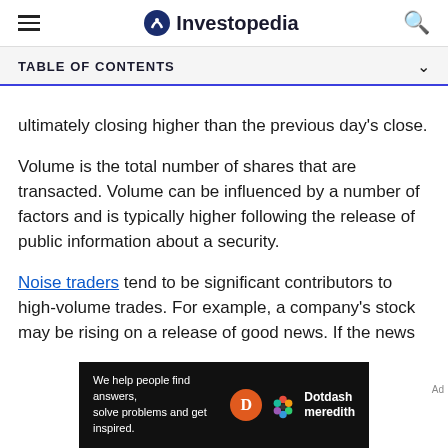Investopedia
TABLE OF CONTENTS
ultimately closing higher than the previous day's close.
Volume is the total number of shares that are transacted. Volume can be influenced by a number of factors and is typically higher following the release of public information about a security.
Noise traders tend to be significant contributors to high-volume trades. For example, a company's stock may be rising on a release of good news. If the news
[Figure (other): Dotdash Meredith advertisement banner with text 'We help people find answers, solve problems and get inspired.']